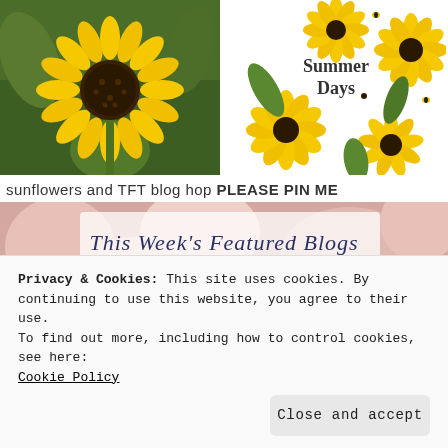[Figure (photo): Close-up photo of a yellow sunflower with green leaves background]
[Figure (illustration): Summer Days decorative illustration with sunflowers and bees arranged in a wreath/circle, text reads 'Summer Days']
sunflowers and TFT blog hop PLEASE PIN ME
[Figure (photo): This Week's Featured Blogs banner image with cursive script text over pink flowers background]
Privacy & Cookies: This site uses cookies. By continuing to use this website, you agree to their use.
To find out more, including how to control cookies, see here:
Cookie Policy
Close and accept